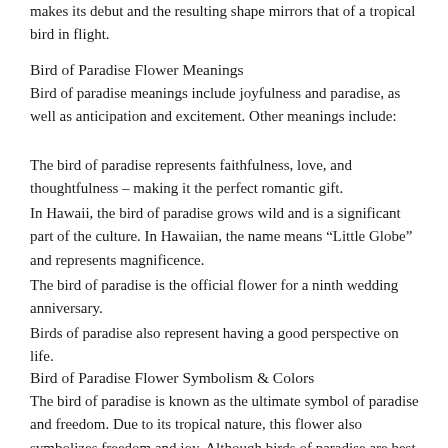makes its debut and the resulting shape mirrors that of a tropical bird in flight.
Bird of Paradise Flower Meanings
Bird of paradise meanings include joyfulness and paradise, as well as anticipation and excitement. Other meanings include:
The bird of paradise represents faithfulness, love, and thoughtfulness – making it the perfect romantic gift.
In Hawaii, the bird of paradise grows wild and is a significant part of the culture. In Hawaiian, the name means “Little Globe” and represents magnificence.
The bird of paradise is the official flower for a ninth wedding anniversary.
Birds of paradise also represent having a good perspective on life.
Bird of Paradise Flower Symbolism & Colors
The bird of paradise is known as the ultimate symbol of paradise and freedom. Due to its tropical nature, this flower also symbolizes freedom and joy. Although birds of paradise are best known for